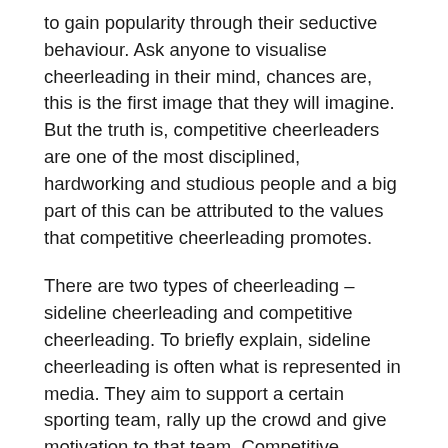to gain popularity through their seductive behaviour. Ask anyone to visualise cheerleading in their mind, chances are, this is the first image that they will imagine. But the truth is, competitive cheerleaders are one of the most disciplined, hardworking and studious people and a big part of this can be attributed to the values that competitive cheerleading promotes.
There are two types of cheerleading – sideline cheerleading and competitive cheerleading. To briefly explain, sideline cheerleading is often what is represented in media. They aim to support a certain sporting team, rally up the crowd and give motivation to that team. Competitive cheerleading on the other hand is when cheerleaders compete against each other at a competition using a routine. This routine comprises of various elements such as jumps, tumbling, stunts, pyramid and dance which is then judged by a panel of cheerleading experts on difficulty